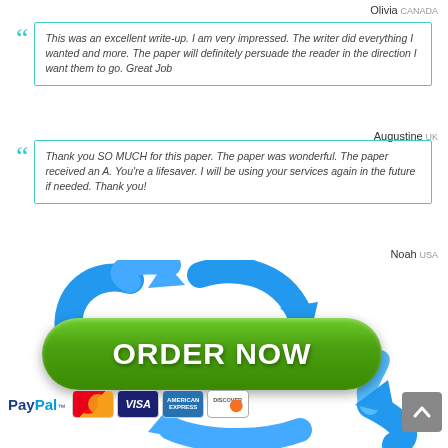Olivia Canada
This was an excellent write-up. I am very impressed. The writer did everything I wanted and more. The paper will definitely persuade the reader in the direction I want them to go. Great Job
Augustine UK
Thank you SO MUCH for this paper. The paper was wonderful. The paper received an A. You're a lifesaver. I will be using your services again in the future if needed. Thank you!
Noah USA
[Figure (illustration): Green ORDER NOW button with circular blue arrows around it]
[Figure (logo): PayPal logo and payment card icons: MasterCard, VISA, American Express, Discover]